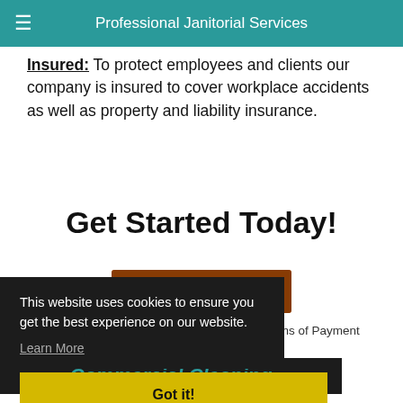Professional Janitorial Services
Insured: To protect employees and clients our company is insured to cover workplace accidents as well as property and liability insurance.
Get Started Today!
Contact Us
*We Accept Checks & Direct Deposit as Forms of Payment
This website uses cookies to ensure you get the best experience on our website.
Learn More
Got it!
Commercial Cleaning